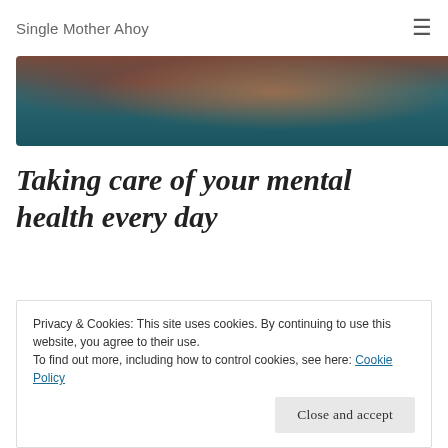Single Mother Ahoy
[Figure (photo): Partial hero image showing a blurred sunset or dark atmospheric scene with warm orange/red and teal tones]
Taking care of your mental health every day
The thing about mental health is that it's not just a case of "one and done." In my experience, you don't get depression, get it fixed and then go on your merry way. For those of us who have experienced any sort of mental health problem, however large or small,
Privacy & Cookies: This site uses cookies. By continuing to use this website, you agree to their use.
To find out more, including how to control cookies, see here: Cookie Policy
Close and accept